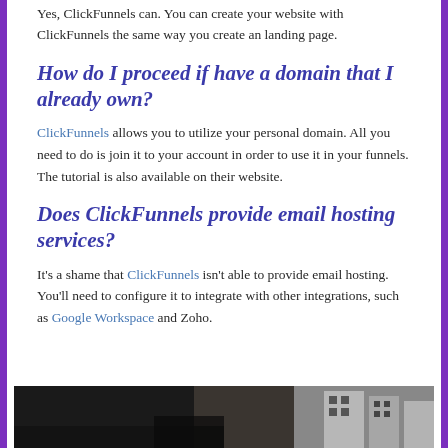Yes, ClickFunnels can. You can create your website with ClickFunnels the same way you create an landing page.
How do I proceed if have a domain that I already own?
ClickFunnels allows you to utilize your personal domain. All you need to do is join it to your account in order to use it in your funnels. The tutorial is also available on their website.
Does ClickFunnels provide email hosting services?
It's a shame that ClickFunnels isn't able to provide email hosting. You'll need to configure it to integrate with other integrations, such as Google Workspace and Zoho.
[Figure (photo): Street scene photograph at bottom of page showing buildings, dark and moody urban environment]